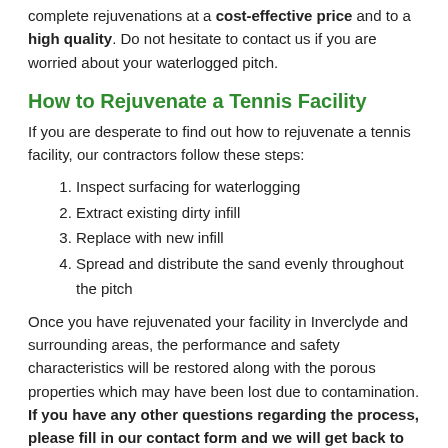complete rejuvenations at a cost-effective price and to a high quality. Do not hesitate to contact us if you are worried about your waterlogged pitch.
How to Rejuvenate a Tennis Facility
If you are desperate to find out how to rejuvenate a tennis facility, our contractors follow these steps:
1. Inspect surfacing for waterlogging
2. Extract existing dirty infill
3. Replace with new infill
4. Spread and distribute the sand evenly throughout the pitch
Once you have rejuvenated your facility in Inverclyde and surrounding areas, the performance and safety characteristics will be restored along with the porous properties which may have been lost due to contamination. If you have any other questions regarding the process, please fill in our contact form and we will get back to you.
Tennis Pitch Infill Cleaning in Inverclyde
It is important to get you the infill within your facility cleaned